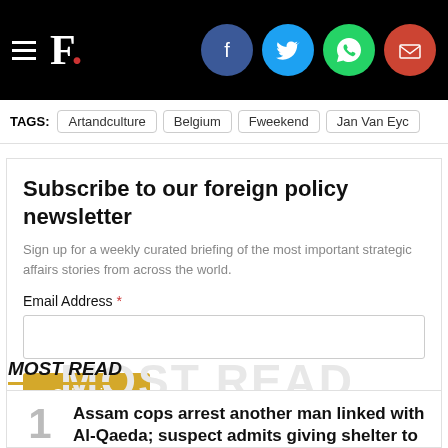F. [logo with social icons: Facebook, Twitter, WhatsApp, Email]
TAGS: Artandculture   Belgium   Fweekend   Jan Van Eyc
Subscribe to our foreign policy newsletter
Sign up for a weekly curated briefing of the most important strategic affairs stories from across the world.
Email Address *
MOST READ
1  Assam cops arrest another man linked with Al-Qaeda; suspect admits giving shelter to Bangladeshi terrorists in Guwahati